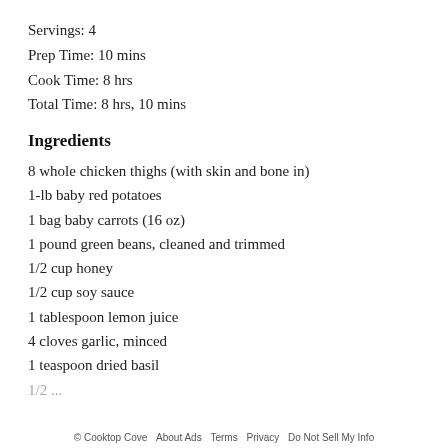Servings: 4
Prep Time: 10 mins
Cook Time: 8 hrs
Total Time: 8 hrs, 10 mins
Ingredients
8 whole chicken thighs (with skin and bone in)
1-lb baby red potatoes
1 bag baby carrots (16 oz)
1 pound green beans, cleaned and trimmed
1/2 cup honey
1/2 cup soy sauce
1 tablespoon lemon juice
4 cloves garlic, minced
1 teaspoon dried basil
1/2 ...
© Cooktop Cove  About Ads  Terms  Privacy  Do Not Sell My Info